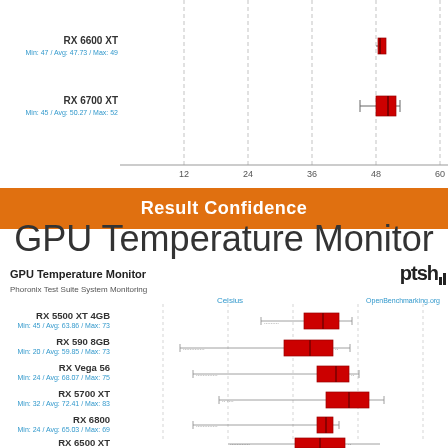[Figure (continuous-plot): Top portion of a box-and-whisker chart showing GPU temperature data for RX 6600 XT (Min:47/Avg:47.73/Max:49) and RX 6700 XT (Min:45/Avg:50.27/Max:52), x-axis from 0 to 60 (Celsius)]
Result Confidence
GPU Temperature Monitor
GPU Temperature Monitor
Phoronix Test Suite System Monitoring
[Figure (continuous-plot): Box-and-whisker chart showing GPU temperature monitor data for multiple AMD GPUs: RX 5500 XT 4GB (Min:45/Avg:63.86/Max:73), RX 590 8GB (Min:20/Avg:59.85/Max:73), RX Vega 56 (Min:24/Avg:68.07/Max:75), RX 5700 XT (Min:32/Avg:72.41/Max:83), RX 6800 (Min:24/Avg:65.03/Max:69), RX 6500 XT. X-axis labeled Celsius.]